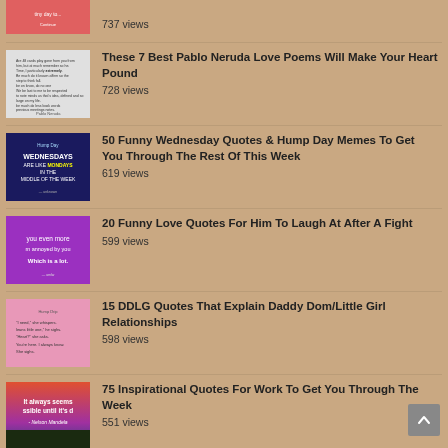737 views
These 7 Best Pablo Neruda Love Poems Will Make Your Heart Pound
728 views
50 Funny Wednesday Quotes & Hump Day Memes To Get You Through The Rest Of This Week
619 views
20 Funny Love Quotes For Him To Laugh At After A Fight
599 views
15 DDLG Quotes That Explain Daddy Dom/Little Girl Relationships
598 views
75 Inspirational Quotes For Work To Get You Through The Week
551 views